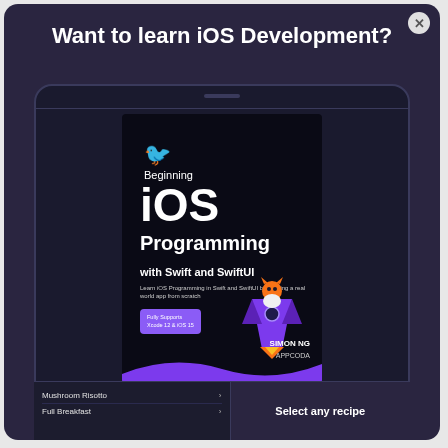Want to learn iOS Development?
[Figure (illustration): Book cover for 'Beginning iOS Programming with Swift and SwiftUI' by Simon Ng (AppCoda), displayed on a tablet device. Cover shows a cat riding a rocket against a dark background with a purple wave at the bottom. Badge reads 'Fully Supports Xcode 12 & iOS 15'. Below the tablet are two UI elements: a list with 'Mushroom Risotto' and 'Full Breakfast', and a button reading 'Select any recipe'.]
Beginning
iOS
Programming
with Swift and SwiftUI
Learn iOS Programming in Swift and SwiftUI by building a real world app from scratch
Fully Supports
Xcode 12 & iOS 15
SIMON NG
APPCODA
Mushroom Risotto
Full Breakfast
Select any recipe